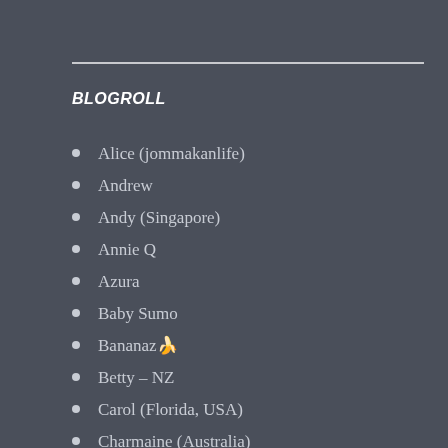BLOGROLL
Alice (jommakanlife)
Andrew
Andy (Singapore)
Annie Q
Azura
Baby Sumo
Bananaz🍌
Betty – NZ
Carol (Florida, USA)
Charmaine (Australia)
chefnsommelier (Singapore)